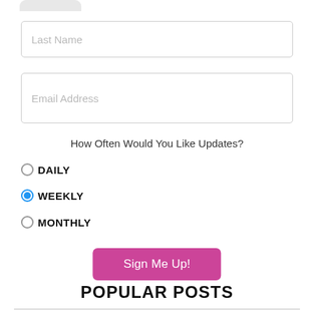[Figure (screenshot): Rounded tab shape at top of form, partially cropped]
Last Name
Email Address
How Often Would You Like Updates?
DAILY
WEEKLY
MONTHLY
Sign Me Up!
POPULAR POSTS